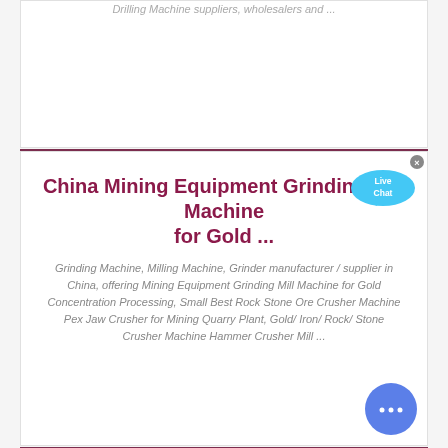Drilling Machine suppliers, wholesalers and ...
China Mining Equipment Grinding Mill Machine for Gold ...
Grinding Machine, Milling Machine, Grinder manufacturer / supplier in China, offering Mining Equipment Grinding Mill Machine for Gold Concentration Processing, Small Best Rock Stone Ore Crusher Machine Pex Jaw Crusher for Mining Quarry Plant, Gold/ Iron/ Rock/ Stone Crusher Machine Hammer Crusher Mill ...